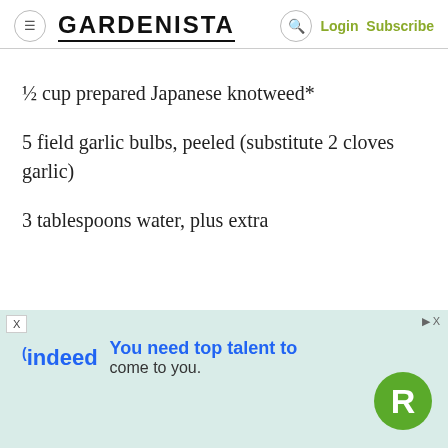GARDENISTA
½ cup prepared Japanese knotweed*
5 field garlic bulbs, peeled (substitute 2 cloves garlic)
3 tablespoons water, plus extra
[Figure (screenshot): indeed advertisement banner: 'You need top talent to come to you.']